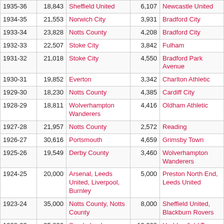| 1935-36 | 18,843 | Sheffield United | 6,107 | Newcastle United |
| 1934-35 | 21,553 | Norwich City | 3,931 | Bradford City |
| 1933-34 | 23,828 | Notts County | 4,208 | Bradford City |
| 1932-33 | 22,507 | Stoke City | 3,842 | Fulham |
| 1931-32 | 21,018 | Stoke City | 4,550 | Bradford Park Avenue |
| 1930-31 | 19,852 | Everton | 3,342 | Charlton Athletic |
| 1929-30 | 18,230 | Notts County | 4,385 | Cardiff City |
| 1928-29 | 18,811 | Wolverhampton Wanderers | 4,416 | Oldham Athletic |
| 1927-28 | 21,957 | Notts County | 2,572 | Reading |
| 1926-27 | 30,616 | Portsmouth | 4,659 | Grimsby Town |
| 1925-26 | 19,549 | Derby County | 3,460 | Wolverhampton Wanderers |
| 1924-25 | 20,000 | Arsenal, Leeds United, Liverpool, Burnley | 5,000 | Preston North End, Leeds United |
| 1923-24 | 35,000 | Notts County, Notts County | 8,000 | Sheffield United, Blackburn Rovers |
| 1922-23 | 25,000 | Sunderland, Sunderland, Birmingham City, Liverpool, Chelsea, Newcastle United, Aston Villa | 12,000 | Huddersfield Town, Bolton Wanderers, Newcastle United, Cardiff City, Blackburn Rovers, Stoke City, Manchester City, Cardiff City |
|  |  |  |  | Rotherham United... |